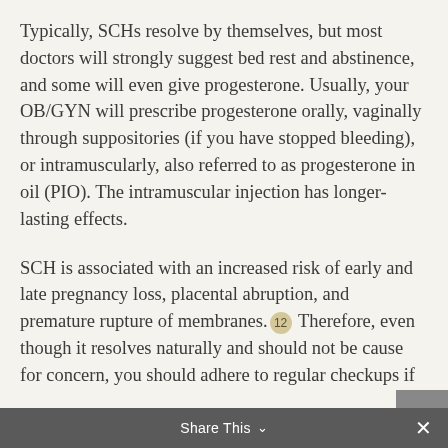Typically, SCHs resolve by themselves, but most doctors will strongly suggest bed rest and abstinence, and some will even give progesterone. Usually, your OB/GYN will prescribe progesterone orally, vaginally through suppositories (if you have stopped bleeding), or intramuscularly, also referred to as progesterone in oil (PIO). The intramuscular injection has longer-lasting effects.
SCH is associated with an increased risk of early and late pregnancy loss, placental abruption, and premature rupture of membranes.[12] Therefore, even though it resolves naturally and should not be cause for concern, you should adhere to regular checkups if